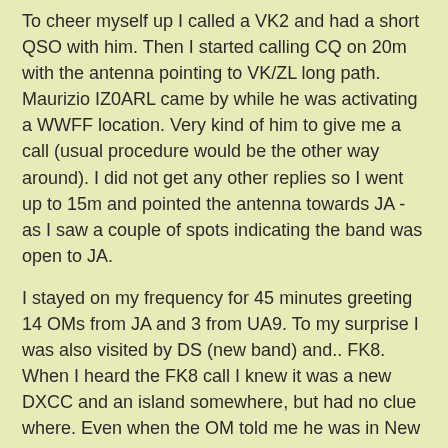To cheer myself up I called a VK2 and had a short QSO with him. Then I started calling CQ on 20m with the antenna pointing to VK/ZL long path. Maurizio IZ0ARL came by while he was activating a WWFF location. Very kind of him to give me a call (usual procedure would be the other way around). I did not get any other replies so I went up to 15m and pointed the antenna towards JA - as I saw a couple of spots indicating the band was open to JA.
I stayed on my frequency for 45 minutes greeting 14 OMs from JA and 3 from UA9. To my surprise I was also visited by DS (new band) and.. FK8. When I heard the FK8 call I knew it was a new DXCC and an island somewhere, but had no clue where. Even when the OM told me he was in New Caledonia I had only a vague notion of where he was. Google Maps helped to increase my topographical knowledge.
Quite cool. There are only a handful of Pacific Islands I have reached so far (HK0, KH0, KH2, KH6, ZL and now FK8).